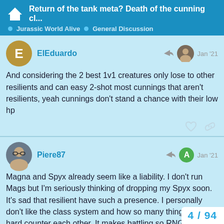Return of the tank meta? Death of the cunning cl... | Jurassic World Alive | General Discussion
ElEduardo
Jan '21
And considering the 2 best 1v1 creatures only lose to other resilients and can easy 2-shot most cunnings that aren't resilients, yeah cunnings don't stand a chance with their low hp
Piere87
Jan '21
Magna and Spyx already seem like a liability. I don't run Mags but I'm seriously thinking of dropping my Spyx soon. It's sad that resilient have such a presence. I personally don't like the class system and how so many things directly hard counter each other. It makes battling so RNG based (ge can't play your way out of it no matter wha
4 / 94